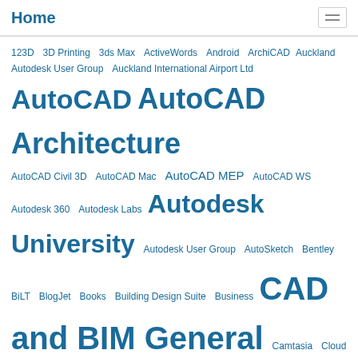Home
123D  3D Printing  3ds Max  ActiveWords  Android  ArchiCAD  Auckland Autodesk User Group  Auckland International Airport Ltd  AutoCAD  AutoCAD Architecture  AutoCAD Civil 3D  AutoCAD Mac  AutoCAD MEP  AutoCAD WS  Autodesk 360  Autodesk Labs  Autodesk University  Autodesk User Group  AutoSketch  Bentley  BiLT  BlogJet  Books  Building Design Suite  Business  CAD and BIM General  Camtasia  Cloud Computing  Comic  Cool Hardware  Cool Software  Corel  COVID-19  Current Affairs  Design and Art  Disclosure  DWF  Dynamo User Group NZ  Enscape  EPIC  ESRI  Excel  Film  Flickr  Games  Google  GPS and Mapping  Graphics  Green  GyroQ  Inventor  iPhone  JCVGantt  Kiva  MapInfo  MindManager  Music  My Perfect Computer  My road to BIM  Navisworks  New Zealand  Office  Outlook  PDF  Personal  PLM  Podcast  PowerPoint  Reality Capture  Retail Design  Revit  Revit Architecture  Revit MEP  Revit Structure  Revit Technology  Revit User